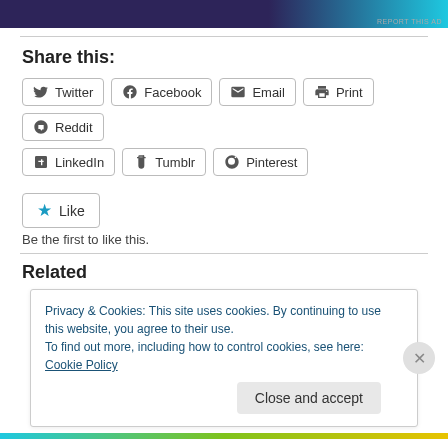[Figure (other): Advertisement banner with dark purple and cyan gradient]
Share this:
Twitter
Facebook
Email
Print
Reddit
LinkedIn
Tumblr
Pinterest
Like
Be the first to like this.
Related
Privacy & Cookies: This site uses cookies. By continuing to use this website, you agree to their use.
To find out more, including how to control cookies, see here: Cookie Policy
Close and accept